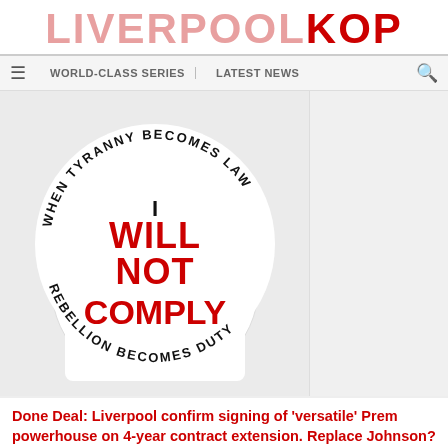LIVERPOOLKOP
WORLD-CLASS SERIES | LATEST NEWS
[Figure (illustration): Circular badge/sticker graphic with text: 'WHEN TYRANNY BECOMES LAW' arched at top, 'I WILL NOT COMPLY' in large red distressed lettering in center, 'REBELLION BECOMES DUTY' arched at bottom. White background with black and red text.]
Done Deal: Liverpool confirm signing of 'versatile' Prem powerhouse on 4-year contract extension. Replace Johnson?